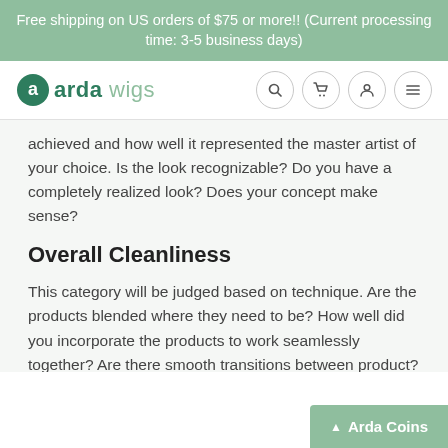Free shipping on US orders of $75 or more!! (Current processing time: 3-5 business days)
[Figure (logo): Arda Wigs logo with circular 'a' icon in teal and text 'arda wigs' in teal/green, alongside navigation icons for search, cart, account, and menu]
achieved and how well it represented the master artist of your choice. Is the look recognizable? Do you have a completely realized look? Does your concept make sense?
Overall Cleanliness
This category will be judged based on technique. Are the products blended where they need to be? How well did you incorporate the products to work seamlessly together? Are there smooth transitions between product? Is there any fallout visible? Are any lines jagged and uneven that is not intentional? Etc. Even though this is a fine arts challenge, there is a difference between intentional, disjointed brush strokes vs. general sloppiness.